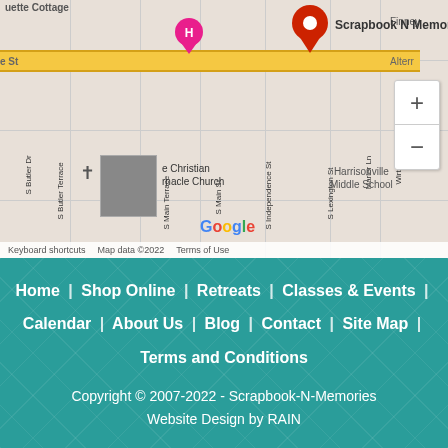[Figure (map): Google Maps screenshot showing the location of Scrapbook N Memories store in Harrisonville, with street labels including S Butler Terrace, Green St, S Main Terrace, S Main St, S Independence St, S Lexington St, Marler Ln, Wirt Ln. A red pin marks Scrapbook N Memories on the main road. A pink hotel pin is visible west. Harrisonville Middle School is labeled to the right. A church with image is shown at bottom left. Google logo and map attribution at bottom.]
Home  |  Shop Online  |  Retreats  |  Classes & Events  |  Calendar  |  About Us  |  Blog  |  Contact  |  Site Map  |  Terms and Conditions
Copyright © 2007-2022 - Scrapbook-N-Memories
Website Design by RAIN